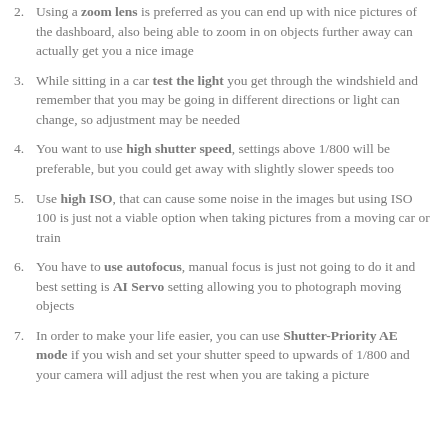Using a zoom lens is preferred as you can end up with nice pictures of the dashboard, also being able to zoom in on objects further away can actually get you a nice image
While sitting in a car test the light you get through the windshield and remember that you may be going in different directions or light can change, so adjustment may be needed
You want to use high shutter speed, settings above 1/800 will be preferable, but you could get away with slightly slower speeds too
Use high ISO, that can cause some noise in the images but using ISO 100 is just not a viable option when taking pictures from a moving car or train
You have to use autofocus, manual focus is just not going to do it and best setting is AI Servo setting allowing you to photograph moving objects
In order to make your life easier, you can use Shutter-Priority AE mode if you wish and set your shutter speed to upwards of 1/800 and your camera will adjust the rest when you are taking a picture